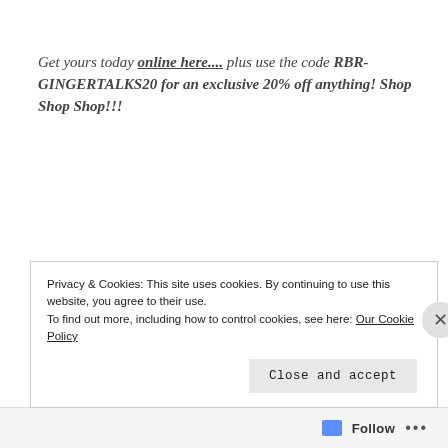Get yours today online here.... plus use the code RBR-GINGERTALKS20 for an exclusive 20% off anything! Shop Shop Shop!!!
[Figure (other): Advertisement box with light blue-grey background containing large serif text: 'Build a writing habit. Post on the go.' with label 'Advertisements' above]
Privacy & Cookies: This site uses cookies. By continuing to use this website, you agree to their use.
To find out more, including how to control cookies, see here: Our Cookie Policy